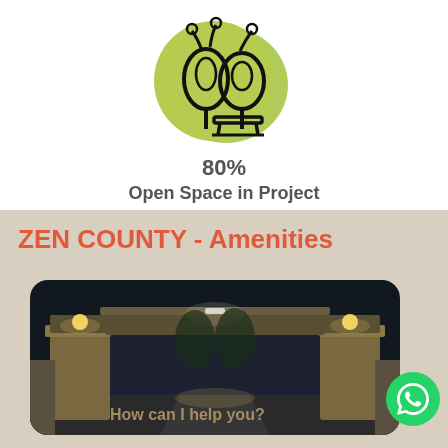[Figure (logo): Green blob-shaped icon with two trees and a park bench, drawn in black line art on a chartreuse/lime green background]
80%
Open Space in Project
ZEN COUNTY - Amenities
[Figure (photo): Nighttime photograph of a residential community entrance gate with two stone-clad gateposts and a covered overhead structure, illuminated by warm lights, showing a pathway leading into the complex]
How can I help you?